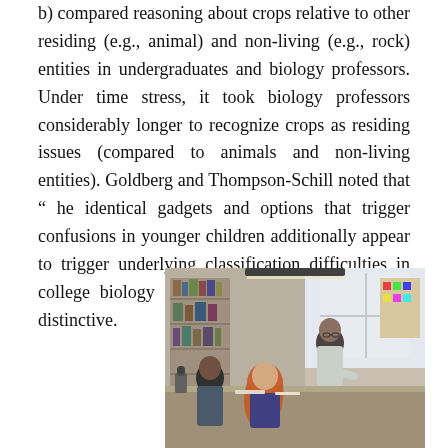b) compared reasoning about crops relative to other residing (e.g., animal) and non-living (e.g., rock) entities in undergraduates and biology professors. Under time stress, it took biology professors considerably longer to recognize crops as residing issues (compared to animals and non-living entities). Goldberg and Thompson-Schill noted that “ he identical gadgets and options that trigger confusions in younger children additionally appear to trigger underlying classification difficulties in college biology professors.” This case just isn’t distinctive.
[Figure (photo): A classroom scene showing a teacher (bald man with glasses wearing a light shirt) leaning over students working at desks. The room has bookshelves in the background and appears to be a science or biology classroom. A female student with red hair is visible in the foreground.]